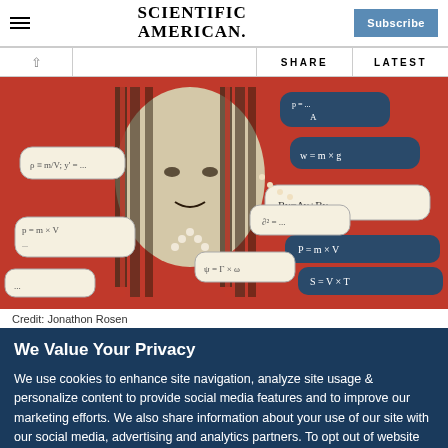SCIENTIFIC AMERICAN.
[Figure (illustration): Artistic illustration of a woman with dark hair and red background, surrounded by speech bubbles containing mathematical formulas and equations such as Ry=Ay+By, w=mx g, P=mxV, S=VxT]
Credit: Jonathon Rosen
We Value Your Privacy
We use cookies to enhance site navigation, analyze site usage & personalize content to provide social media features and to improve our marketing efforts. We also share information about your use of our site with our social media, advertising and analytics partners. To opt out of website cookies or otherwise manage your cookie settings, click on Cookie Settings. View O